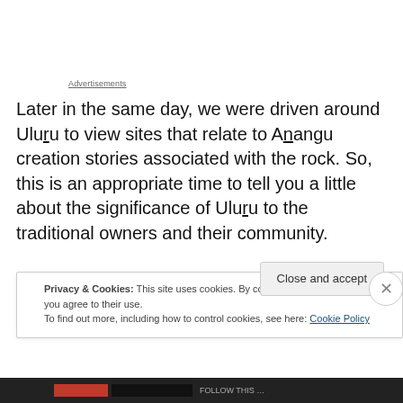Advertisements
Later in the same day, we were driven around Uluru to view sites that relate to Anangu creation stories associated with the rock. So, this is an appropriate time to tell you a little about the significance of Uluru to the traditional owners and their community.

First, you might like to see a welcome from one of the
Privacy & Cookies: This site uses cookies. By continuing to use this website, you agree to their use.
To find out more, including how to control cookies, see here: Cookie Policy
Close and accept